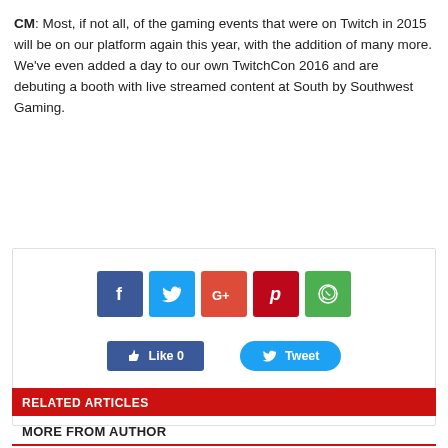CM: Most, if not all, of the gaming events that were on Twitch in 2015 will be on our platform again this year, with the addition of many more. We've even added a day to our own TwitchCon 2016 and are debuting a booth with live streamed content at South by Southwest Gaming.
Twitch
[Figure (infographic): Social media sharing buttons: Facebook, Twitter, Google+, Pinterest, WhatsApp icons, plus Like 0 and Tweet action buttons]
RELATED ARTICLES
MORE FROM AUTHOR